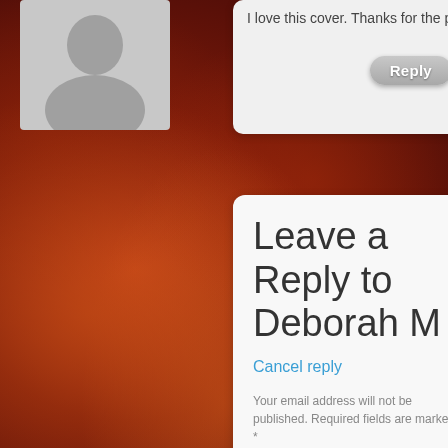I love this cover. Thanks for the post
Reply
Leave a Reply to Deborah M
Cancel reply
Your email address will not be published. Required fields are marked *
Name *
Email *
Website